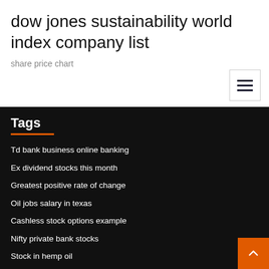dow jones sustainability world index company list
share price chart
Tags
Td bank business online banking
Ex dividend stocks this month
Greatest positive rate of change
Oil jobs salary in texas
Cashless stock options example
Nifty private bank stocks
Stock in hemp oil